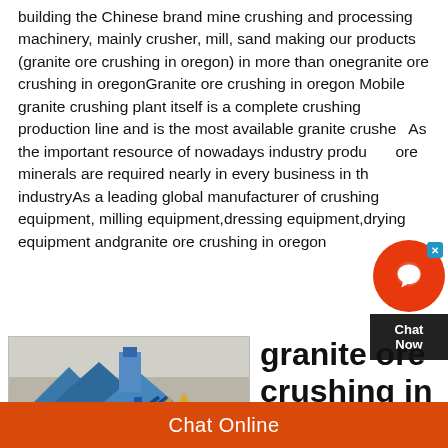building the Chinese brand mine crushing and processing machinery, mainly crusher, mill, sand making our products (granite ore crushing in oregon) in more than onegranite ore crushing in oregonGranite ore crushing in oregon Mobile granite crushing plant itself is a complete crushing production line and is the most available granite crusher. As the important resource of nowadays industry products, ore minerals are required nearly in every business in the industryAs a leading global manufacturer of crushing equipment, milling equipment,dressing equipment,drying equipment andgranite ore crushing in oregon
[Figure (photo): Industrial granite ore crushing facility with blue metal structures, conveyors, and aggregate piles]
granite ore crushing in oregon
Chat Online